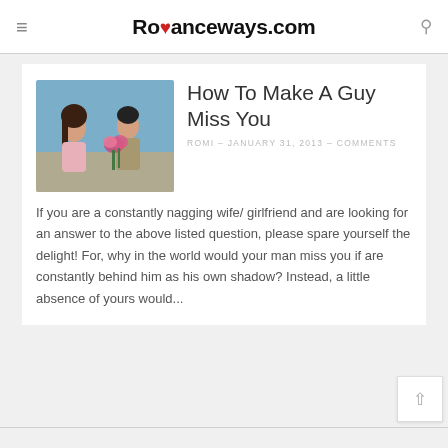Romanceways.com
[Figure (photo): A young woman looking away from a young man who is holding pink flowers, sitting on a couch against a blue background.]
How To Make A Guy Miss You
ROMI - JANUARY 31, 2013 - COMMENTS
If you are a constantly nagging wife/ girlfriend and are looking for an answer to the above listed question, please spare yourself the delight! For, why in the world would your man miss you if are constantly behind him as his own shadow? Instead, a little absence of yours would...